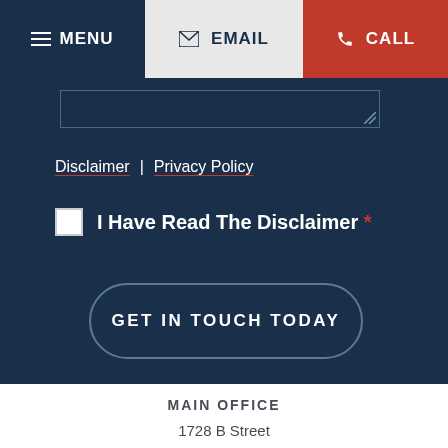MENU | EMAIL | CALL
Disclaimer | Privacy Policy
I Have Read The Disclaimer *
GET IN TOUCH TODAY
MAIN OFFICE
1728 B Street